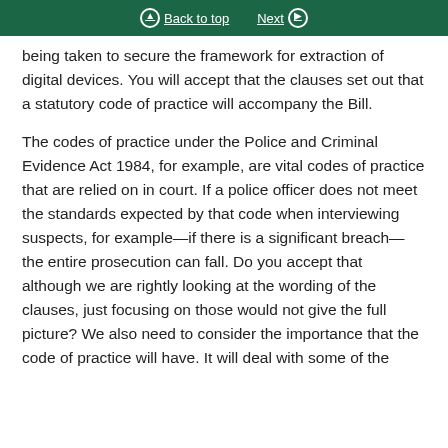Back to top | Next
being taken to secure the framework for extraction of digital devices. You will accept that the clauses set out that a statutory code of practice will accompany the Bill.
The codes of practice under the Police and Criminal Evidence Act 1984, for example, are vital codes of practice that are relied on in court. If a police officer does not meet the standards expected by that code when interviewing suspects, for example—if there is a significant breach—the entire prosecution can fall. Do you accept that although we are rightly looking at the wording of the clauses, just focusing on those would not give the full picture? We also need to consider the importance that the code of practice will have. It will deal with some of the